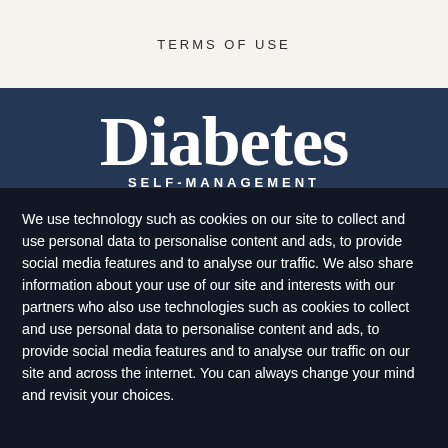TERMS OF USE
[Figure (logo): Diabetes Self-Management logo in white serif font on dark navy background]
We use technology such as cookies on our site to collect and use personal data to personalise content and ads, to provide social media features and to analyse our traffic. We also share information about your use of our site and interests with our partners who also use technologies such as cookies to collect and use personal data to personalise content and ads, to provide social media features and to analyse our traffic on our site and across the internet. You can always change your mind and revisit your choices.
Manage Options | I Accept